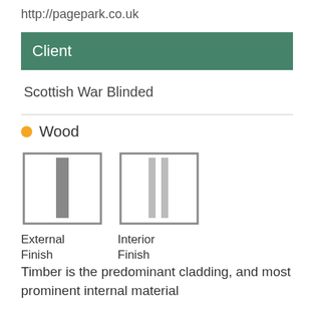http://pagepark.co.uk
Client
Scottish War Blinded
Wood
[Figure (illustration): Two square icons: External Finish (darker vertical bar) and Interior Finish (lighter vertical bars), both with grey borders]
Timber is the predominant cladding, and most prominent internal material